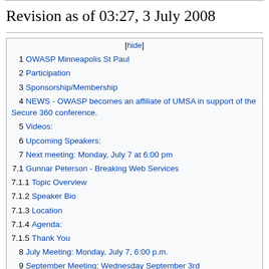Revision as of 03:27, 3 July 2008
1  OWASP Minneapolis St Paul
2  Participation
3  Sponsorship/Membership
4  NEWS - OWASP becomes an affiliate of UMSA in support of the Secure 360 conference.
5  Videos:
6  Upcoming Speakers:
7  Next meeting: Monday, July 7 at 6:00 pm
7.1  Gunnar Peterson - Breaking Web Services
7.1.1  Topic Overview
7.1.2  Speaker Bio
7.1.3  Location
7.1.4  Agenda:
7.1.5  Thank You
8  July Meeting: Monday, July 7, 6:00 p.m.
9  September Meeting: Wednesday September 3rd